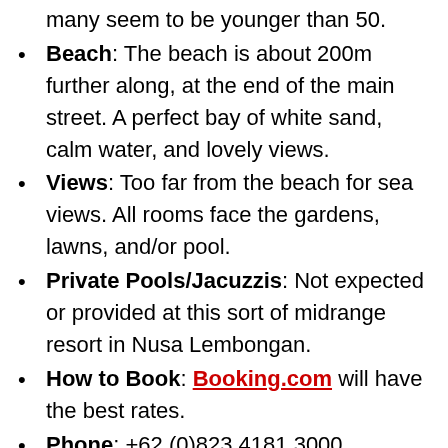many seem to be younger than 50.
Beach: The beach is about 200m further along, at the end of the main street. A perfect bay of white sand, calm water, and lovely views.
Views: Too far from the beach for sea views. All rooms face the gardens, lawns, and/or pool.
Private Pools/Jacuzzis: Not expected or provided at this sort of midrange resort in Nusa Lembongan.
How to Book: Booking.com will have the best rates.
Phone: +62 (0)823 4181 3000